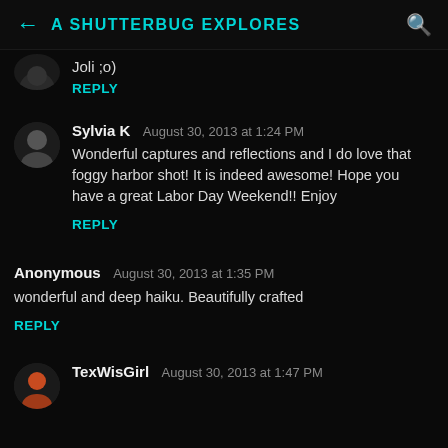A SHUTTERBUG EXPLORES
Joli ;o)
REPLY
Sylvia K  August 30, 2013 at 1:24 PM
Wonderful captures and reflections and I do love that foggy harbor shot! It is indeed awesome! Hope you have a great Labor Day Weekend!! Enjoy
REPLY
Anonymous  August 30, 2013 at 1:35 PM
wonderful and deep haiku. Beautifully crafted
REPLY
TexWisGirl  August 30, 2013 at 1:47 PM